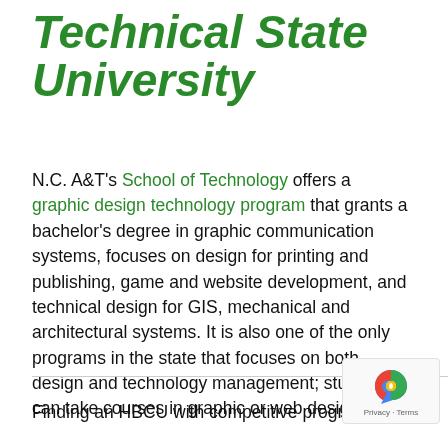Technical State University
N.C. A&T's School of Technology offers a graphic design technology program that grants a bachelor's degree in graphic communication systems, focuses on design for printing and publishing, game and website development, and technical design for GIS, mechanical and architectural systems. It is also one of the only programs in the state that focuses on both design and technology management; students can take courses in graphic or web design.
Finding an HBCU with competitive programs for